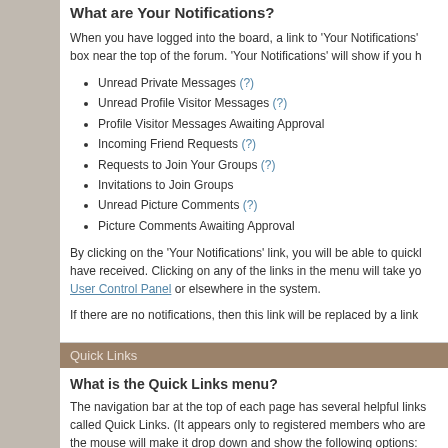What are Your Notifications?
When you have logged into the board, a link to 'Your Notifications' box near the top of the forum. 'Your Notifications' will show if you h
Unread Private Messages (?)
Unread Profile Visitor Messages (?)
Profile Visitor Messages Awaiting Approval
Incoming Friend Requests (?)
Requests to Join Your Groups (?)
Invitations to Join Groups
Unread Picture Comments (?)
Picture Comments Awaiting Approval
By clicking on the 'Your Notifications' link, you will be able to quickl have received. Clicking on any of the links in the menu will take yo User Control Panel or elsewhere in the system.
If there are no notifications, then this link will be replaced by a link
Quick Links
What is the Quick Links menu?
The navigation bar at the top of each page has several helpful links called Quick Links. (It appears only to registered members who are the mouse will make it drop down and show the following options:
Quick Links